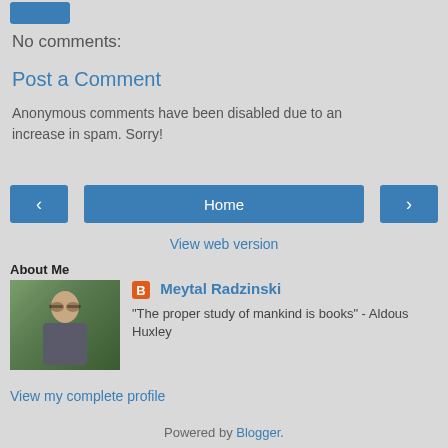[Figure (other): Blue button at top of page]
No comments:
Post a Comment
Anonymous comments have been disabled due to an increase in spam. Sorry!
[Figure (other): Navigation buttons: left arrow, Home, right arrow]
View web version
About Me
[Figure (photo): Profile photo of Meytal Radzinski - woman with dark hair and glasses outdoors]
Meytal Radzinski – "The proper study of mankind is books" - Aldous Huxley
View my complete profile
Powered by Blogger.